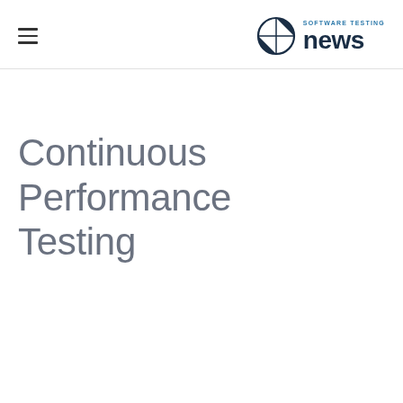Software Testing News
Continuous Performance Testing